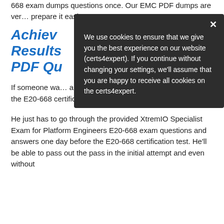668 exam dumps questions once. Our EMC PDF dumps are ver… prepare it easi…
Achieve Results PDF Qu…
If someone wa… and wants to b… he really should practice the E20-668 certification exam questions at least once.
He just has to go through the provided XtremIO Specialist Exam for Platform Engineers E20-668 exam questions and answers one day before the E20-668 certification test. He'll be able to pass out the pass in the initial attempt and even without
We use cookies to ensure that we give you the best experience on our website (certs4expert). If you continue without changing your settings, we'll assume that you are happy to receive all cookies on the certs4expert.